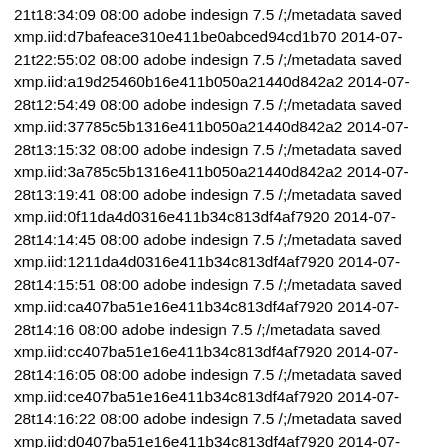21t18:34:09 08:00 adobe indesign 7.5 /;/metadata saved xmp.iid:d7bafeace310e411be0abced94cd1b70 2014-07-21t22:55:02 08:00 adobe indesign 7.5 /;/metadata saved xmp.iid:a19d25460b16e411b050a21440d842a2 2014-07-28t12:54:49 08:00 adobe indesign 7.5 /;/metadata saved xmp.iid:37785c5b1316e411b050a21440d842a2 2014-07-28t13:15:32 08:00 adobe indesign 7.5 /;/metadata saved xmp.iid:3a785c5b1316e411b050a21440d842a2 2014-07-28t13:19:41 08:00 adobe indesign 7.5 /;/metadata saved xmp.iid:0f11da4d0316e411b34c813df4af7920 2014-07-28t14:14:45 08:00 adobe indesign 7.5 /;/metadata saved xmp.iid:1211da4d0316e411b34c813df4af7920 2014-07-28t14:15:51 08:00 adobe indesign 7.5 /;/metadata saved xmp.iid:ca407ba51e16e411b34c813df4af7920 2014-07-28t14:16 08:00 adobe indesign 7.5 /;/metadata saved xmp.iid:cc407ba51e16e411b34c813df4af7920 2014-07-28t14:16:05 08:00 adobe indesign 7.5 /;/metadata saved xmp.iid:ce407ba51e16e411b34c813df4af7920 2014-07-28t14:16:22 08:00 adobe indesign 7.5 /;/metadata saved xmp.iid:d0407ba51e16e411b34c813df4af7920 2014-07-28t14:16:25 08:00 adobe indesign 7.5 /;/metadata saved xmp.iid:d2407ba51e16e411b34c813df4af7920 2014-07-28t14:16:29 08:00 adobe indesign 7.5 /;/metadata saved xmp.iid:3a0c0dc21e16e411b34c813df4af7920 2014-07-28t14:16:48 08:00 adobe indesign 7.5 /;/metadata saved xmp.iid:1_d58d91316e411b8df0_d3_14861_b 2014-07-